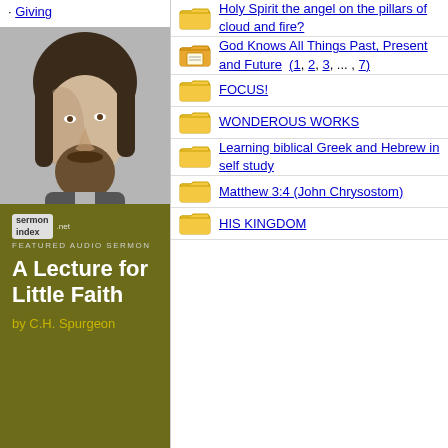· Giving
[Figure (photo): Black and white portrait photograph of C.H. Spurgeon, facing slightly left, with beard and dark hair]
[Figure (infographic): SermonIndex.net featured audio sermon card: 'A Lecture for Little Faith by C.H. Spurgeon' on olive/dark yellow background]
| Icon | Topic |
| --- | --- |
| [folder] | Holy Spirit the angel on the pillars of cloud and fire? |
| [folder+note] | God Knows All Things Past, Present and Future  (1, 2, 3, ... , 7) |
| [folder] | FOCUS! |
| [folder] | WONDEROUS WORKS |
| [folder] | Learning biblical Greek and Hebrew in self study |
| [folder] | Matthew 3:4 (John Chrysostom) |
| [folder] | HIS KINGDOM |